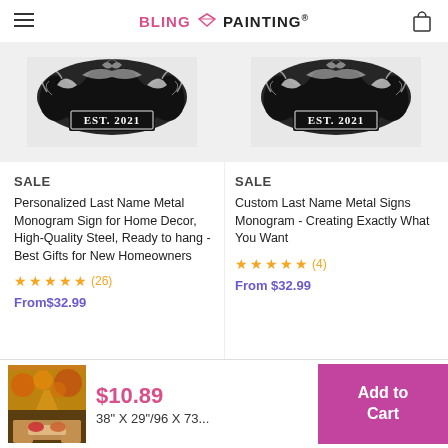BLING PAINTING®
[Figure (photo): Metal monogram sign with ornate scroll work, 'EST. 2021' text, black cutout design - left product]
[Figure (photo): Metal monogram sign with ornate scroll work, 'EST. 2021' text, black cutout design - right product]
SALE
Personalized Last Name Metal Monogram Sign for Home Decor, High-Quality Steel, Ready to hang - Best Gifts for New Homeowners
★★★★★ (26)
From$32.99
SALE
Custom Last Name Metal Signs Monogram - Creating Exactly What You Want
★★★★★ (4)
From $32.99
[Figure (photo): Autumn forest tapestry wall art product thumbnail]
$10.89
38" X 29"/96 X 73...
Add to Cart